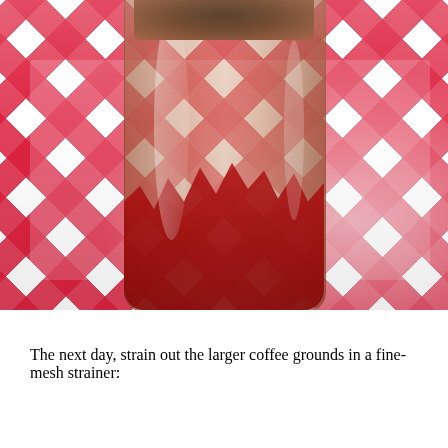[Figure (photo): A glass jar filled with a dark brown coffee mixture and red jam/sauce at the bottom, sitting on a red and white checkered tablecloth. The top of the jar shows wet coffee grounds.]
The next day, strain out the larger coffee grounds in a fine-mesh strainer: